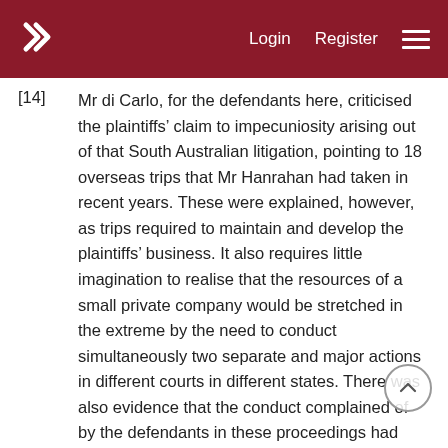Login  Register
[14]  Mr di Carlo, for the defendants here, criticised the plaintiffs’ claim to impecuniosity arising out of that South Australian litigation, pointing to 18 overseas trips that Mr Hanrahan had taken in recent years. These were explained, however, as trips required to maintain and develop the plaintiffs’ business. It also requires little imagination to realise that the resources of a small private company would be stretched in the extreme by the need to conduct simultaneously two separate and major actions in different courts in different states. There was also evidence that the conduct complained of by the defendants in these proceedings had damaged the plaintiffs’ business and contributed to their financial problems. The explanation for the delay is understandable and rings true.
[15]  The evidence linking the plaintiffs in South Australia the defendants in these proceedings and